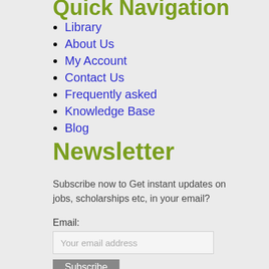Quick Navigation
Library
About Us
My Account
Contact Us
Frequently asked
Knowledge Base
Blog
Newsletter
Subscribe now to Get instant updates on jobs, scholarships etc, in your email?
Email:
Your email address
Subscribe